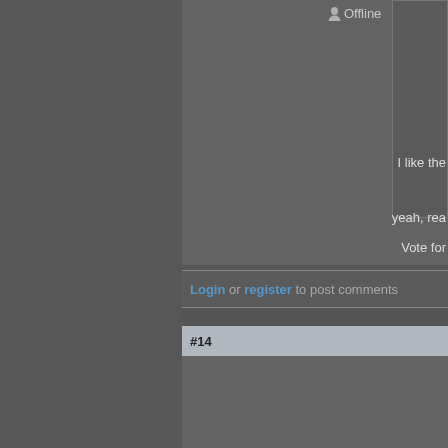Offline
I like the
yeah, rea
Vote for
Login or register to post comments
#14
Kevin R Brown
Superfan
[Figure (photo): Black and white photo of a dome-shaped object, possibly a helmet or sculpture]
Jake,Qu
Jake,
Quote: